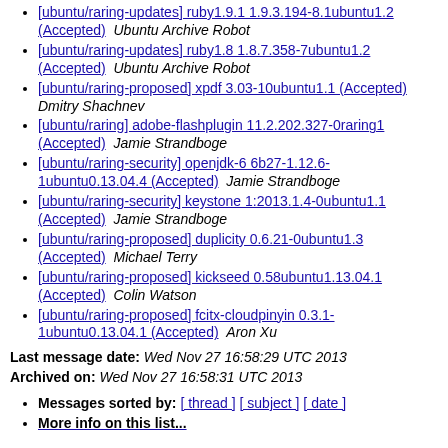[ubuntu/raring-updates] ruby1.9.1 1.9.3.194-8.1ubuntu1.2 (Accepted)  Ubuntu Archive Robot
[ubuntu/raring-updates] ruby1.8 1.8.7.358-7ubuntu1.2 (Accepted)  Ubuntu Archive Robot
[ubuntu/raring-proposed] xpdf 3.03-10ubuntu1.1 (Accepted)  Dmitry Shachnev
[ubuntu/raring] adobe-flashplugin 11.2.202.327-0raring1 (Accepted)  Jamie Strandboge
[ubuntu/raring-security] openjdk-6 6b27-1.12.6-1ubuntu0.13.04.4 (Accepted)  Jamie Strandboge
[ubuntu/raring-security] keystone 1:2013.1.4-0ubuntu1.1 (Accepted)  Jamie Strandboge
[ubuntu/raring-proposed] duplicity 0.6.21-0ubuntu1.3 (Accepted)  Michael Terry
[ubuntu/raring-proposed] kickseed 0.58ubuntu1.13.04.1 (Accepted)  Colin Watson
[ubuntu/raring-proposed] fcitx-cloudpinyin 0.3.1-1ubuntu0.13.04.1 (Accepted)  Aron Xu
Last message date: Wed Nov 27 16:58:29 UTC 2013
Archived on: Wed Nov 27 16:58:31 UTC 2013
Messages sorted by: [ thread ] [ subject ] [ date ]
More info on this list...